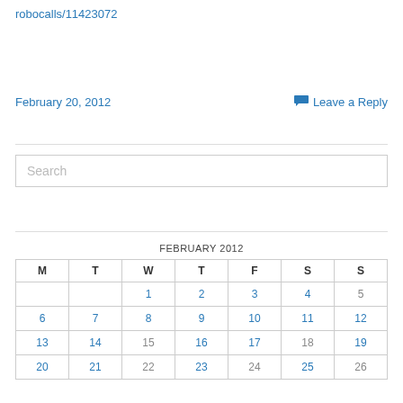robocalls/11423072
February 20, 2012
Leave a Reply
Search
| M | T | W | T | F | S | S |
| --- | --- | --- | --- | --- | --- | --- |
|  |  | 1 | 2 | 3 | 4 | 5 |
| 6 | 7 | 8 | 9 | 10 | 11 | 12 |
| 13 | 14 | 15 | 16 | 17 | 18 | 19 |
| 20 | 21 | 22 | 23 | 24 | 25 | 26 |